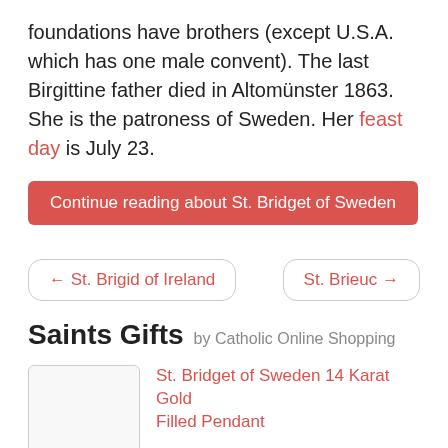foundations have brothers (except U.S.A. which has one male convent). The last Birgittine father died in Altomünster 1863. She is the patroness of Sweden. Her feast day is July 23.
Continue reading about St. Bridget of Sweden
← St. Brigid of Ireland
St. Brieuc →
Saints Gifts by Catholic Online Shopping
St. Bridget of Sweden 14 Karat Gold Filled Pendant
@ $159.99